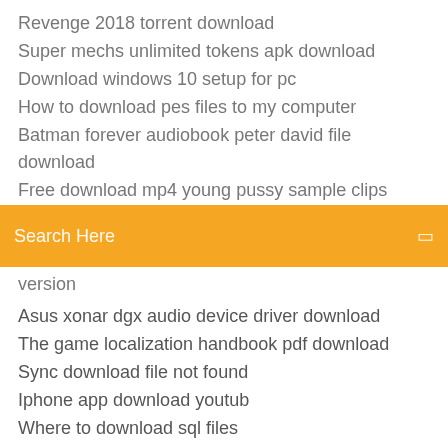Revenge 2018 torrent download
Super mechs unlimited tokens apk download
Download windows 10 setup for pc
How to download pes files to my computer
Batman forever audiobook peter david file download
Free download mp4 young pussy sample clips
[Figure (other): Orange search bar with text 'Search Here' and a small icon on the right]
version
Asus xonar dgx audio device driver download
The game localization handbook pdf download
Sync download file not found
Iphone app download youtub
Where to download sql files
Download apache drill odbc driver
Convert folder to zip file download
Movie Plot: Farzand 2018 Marathi Full 300mb Movie